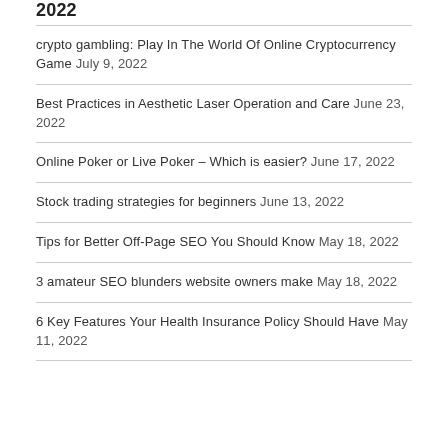crypto gambling: Play In The World Of Online Cryptocurrency Game July 9, 2022
Best Practices in Aesthetic Laser Operation and Care June 23, 2022
Online Poker or Live Poker – Which is easier? June 17, 2022
Stock trading strategies for beginners June 13, 2022
Tips for Better Off-Page SEO You Should Know May 18, 2022
3 amateur SEO blunders website owners make May 18, 2022
6 Key Features Your Health Insurance Policy Should Have May 11, 2022